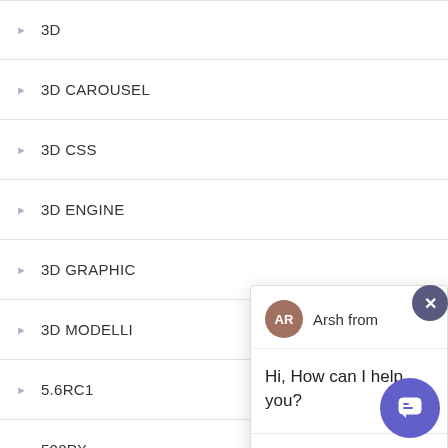3D
3D CAROUSEL
3D CSS
3D ENGINE
3D GRAPHIC
3D MODELLI
5.6RC1
500PX
60FPS
[Figure (screenshot): Chat widget overlay showing agent 'AR - Arsh from' with message 'Hi, How can I help you?' and a text input area. A close button (x) appears at top right and a purple chat launcher button at bottom right.]